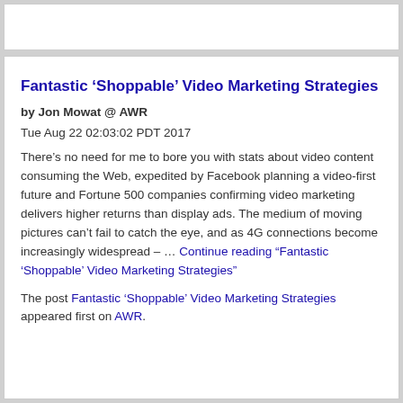Fantastic ‘Shoppable’ Video Marketing Strategies
by Jon Mowat @ AWR
Tue Aug 22 02:03:02 PDT 2017
There’s no need for me to bore you with stats about video content consuming the Web, expedited by Facebook planning a video-first future and Fortune 500 companies confirming video marketing delivers higher returns than display ads. The medium of moving pictures can’t fail to catch the eye, and as 4G connections become increasingly widespread – … Continue reading "Fantastic ‘Shoppable’ Video Marketing Strategies"
The post Fantastic ‘Shoppable’ Video Marketing Strategies appeared first on AWR.